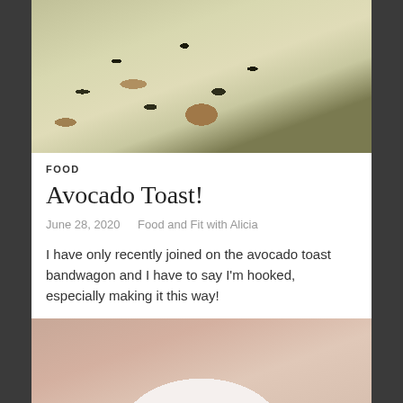[Figure (photo): Overhead close-up of avocado toast slices with sesame seeds and black seeds on top, with a pink cloth/napkin visible on the right side]
FOOD
Avocado Toast!
June 28, 2020   Food and Fit with Alicia
I have only recently joined on the avocado toast bandwagon and I have to say I'm hooked, especially making it this way!
[Figure (photo): Avocado toast on a white plate, on a pink/terracotta marble surface, viewed from above]